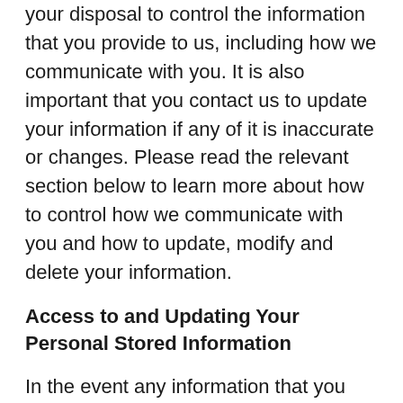your disposal to control the information that you provide to us, including how we communicate with you. It is also important that you contact us to update your information if any of it is inaccurate or changes. Please read the relevant section below to learn more about how to control how we communicate with you and how to update, modify and delete your information.
Access to and Updating Your Personal Stored Information
In the event any information that you provide to us is inaccurate, changes or you would like this information deleted, your information can be updated by contacting us via any of the means on our contact us page.  We will respond to your request within a reasonable timeframe.
You can also access and update your personal information by going to your account, signing in (with your email address and password) and clicking on the “Profile” section